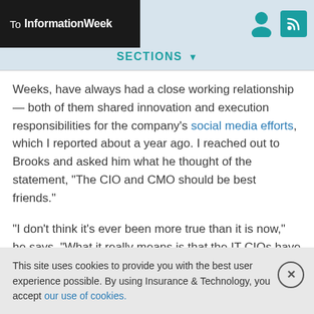To InformationWeek
SECTIONS
Weeks, have always had a close working relationship — both of them shared innovation and execution responsibilities for the company's social media efforts, which I reported about a year ago. I reached out to Brooks and asked him what he thought of the statement, "The CIO and CMO should be best friends."
"I don't think it's ever been more true than it is now," he says. "What it really means is that the IT CIOs have to be versed in the business — it is no longer enough for them to be experts in technology regardless of the business they're in.
This site uses cookies to provide you with the best user experience possible. By using Insurance & Technology, you accept our use of cookies.